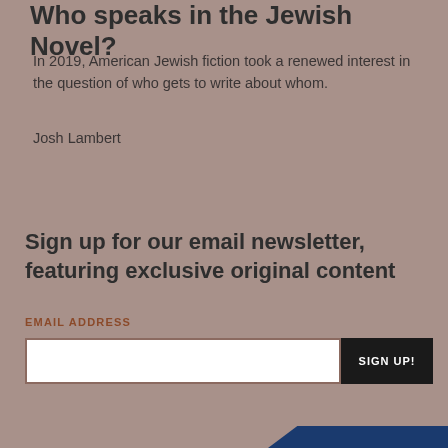Who speaks in the Jewish Novel?
In 2019, American Jewish fiction took a renewed interest in the question of who gets to write about whom.
Josh Lambert
Sign up for our email newsletter, featuring exclusive original content
EMAIL ADDRESS
SIGN UP!